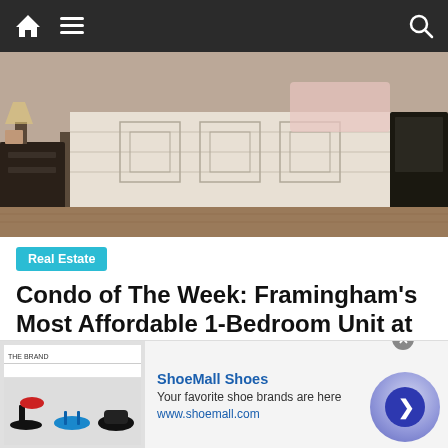Navigation bar with home icon, menu, and search
[Figure (photo): Bedroom interior photo showing a bed with white patterned bedspread, dark nightstand, and hardwood floor]
Real Estate
Condo of The Week: Framingham's Most Affordable 1-Bedroom Unit at $149,000
April 24, 2021  editor  150 Second Street, Birchwood Condos, Condo of the week, District 9, Real Estate, Second Street
[Figure (infographic): ShoeMall Shoes advertisement banner showing shoe images, title 'ShoeMall Shoes', text 'Your favorite shoe brands are here', URL www.shoemall.com, and a navigation circle button]